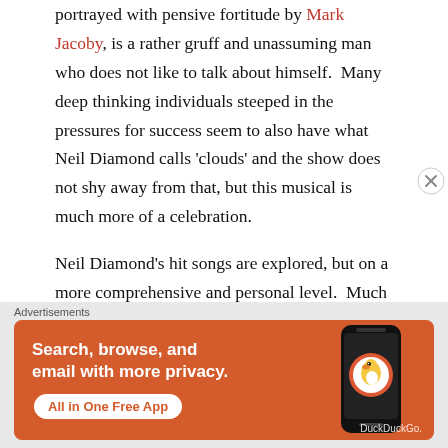portrayed with pensive fortitude by Mark Jacoby, is a rather gruff and unassuming man who does not like to talk about himself. Many deep thinking individuals steeped in the pressures for success seem to also have what Neil Diamond calls 'clouds' and the show does not shy away from that, but this musical is much more of a celebration.
Neil Diamond's hit songs are explored, but on a more comprehensive and personal level. Much of the production is a luminous foray into how songs like catchy Cherry, Cherry, Song Sung Blue, America which delves into Diamond's Polish heritage, traditional Boston Red Sox song Sweet Caroline met
Advertisements
[Figure (other): DuckDuckGo advertisement banner with orange background showing 'Search, browse, and email with more privacy. All in One Free App' text and a smartphone showing the DuckDuckGo app icon]